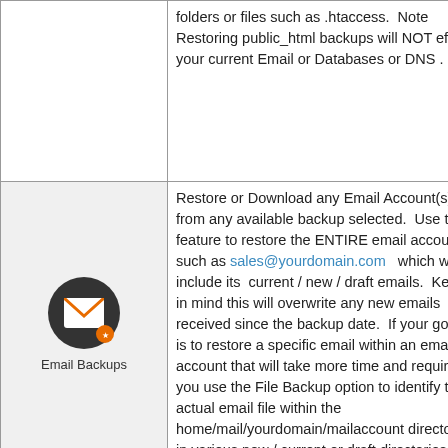folders or files such as .htaccess.  Note Restoring public_html backups will NOT effect your current Email or Databases or DNS .
[Figure (illustration): Dark circular icon with white envelope/email symbol and an orange badge in the bottom right corner, labeled 'Email Backups' below]
Restore or Download any Email Account(s) from any available backup selected.  Use this feature to restore the ENTIRE email account such as sales@yourdomain.com  which will include its  current / new / draft emails.  Keep in mind this will overwrite any new emails received since the backup date.  If your goal is to restore a specific email within an email account that will take more time and require you use the File Backup option to identify the actual email file within the home/mail/yourdomain/mailaccount directory in various new / current or draft directories.
Restore or Download any Database(s)